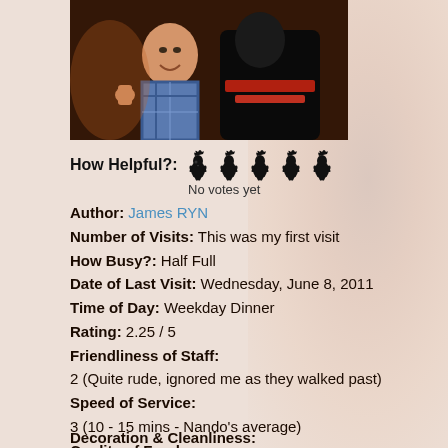[Figure (photo): Photo of a smiling young man giving thumbs up with another person in a dark costume at what appears to be a social event]
How Helpful?: [5 rooster icons] No votes yet
Author: James RYN
Number of Visits: This was my first visit
How Busy?: Half Full
Date of Last Visit: Wednesday, June 8, 2011
Time of Day: Weekday Dinner
Rating: 2.25 / 5
Friendliness of Staff:
2 (Quite rude, ignored me as they walked past)
Speed of Service:
3 (10 - 15 mins - Nando's average)
Quality of Food:
2 (Quite disappointing - seems rushed, may have some parts burnt)
Decoration & Cleanliness: